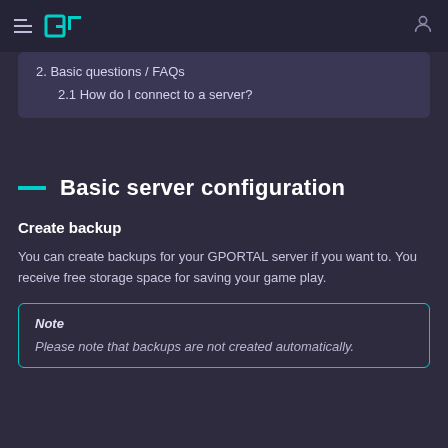GPORTAL navigation
2. Basic questions / FAQs
2.1 How do I connect to a server?
Basic server configuration
Create backup
You can create backups for your GPORTAL server if you want to. You receive free storage space for saving your game play.
Note
Please note that backups are not created automatically.